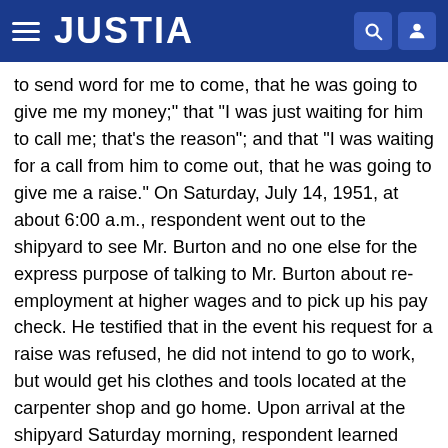JUSTIA
to send word for me to come, that he was going to give me my money;" that "I was just waiting for him to call me; that's the reason"; and that "I was waiting for a call from him to come out, that he was going to give me a raise." On Saturday, July 14, 1951, at about 6:00 a.m., respondent went out to the shipyard to see Mr. Burton and no one else for the express purpose of talking to Mr. Burton about re-employment at higher wages and to pick up his pay check. He testified that in the event his request for a raise was refused, he did not intend to go to work, but would get his clothes and tools located at the carpenter shop and go home. Upon arrival at the shipyard Saturday morning, respondent learned from Mr. Henry Fruge, a night watchman, that Mr. O. W. Burton and Mr. J. C. Hoeny, the general superintendent, had departed at an earlier hour on a fishing trip. While respondent was talking to Mr. Fruge, a Mr. Mott called to